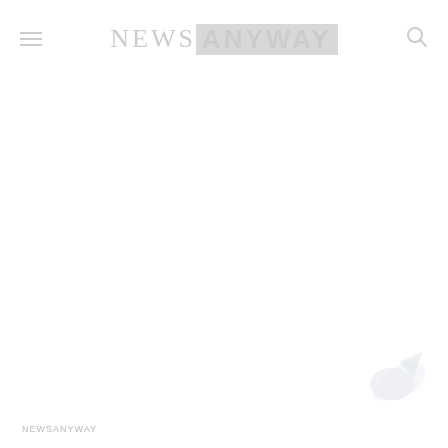NEWS ANYWAY
[Figure (logo): Arrow/cursor icon in lower right corner, light gray, partially visible]
NEWSANYWAY